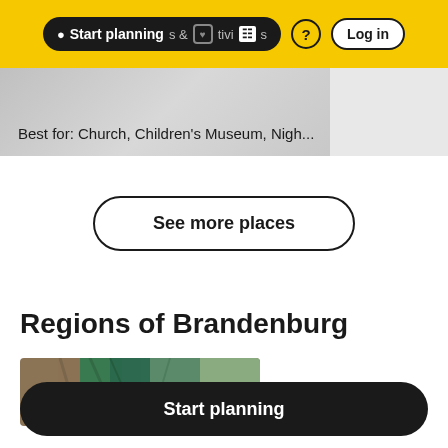Start planning  &  Activities  ?  Log in
Best for: Church, Children's Museum, Nigh...
See more places
Regions of Brandenburg
[Figure (photo): Aerial or close-up photo showing green and brown patterns, likely a landscape or field view]
Start planning